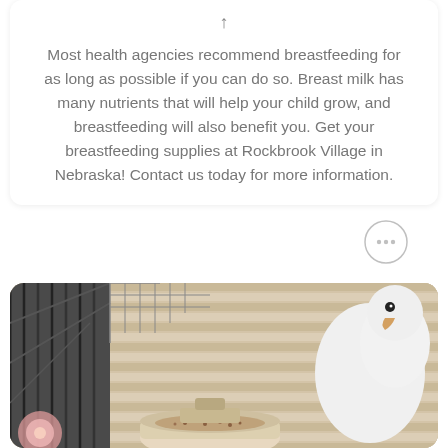Most health agencies recommend breastfeeding for as long as possible if you can do so. Breast milk has many nutrients that will help your child grow, and breastfeeding will also benefit you. Get your breastfeeding supplies at Rockbrook Village in Nebraska! Contact us today for more information.
[Figure (photo): A white bird (likely a cockatoo or parakeet) near a food bowl inside a cage with metal bars, with window blinds visible in the background.]